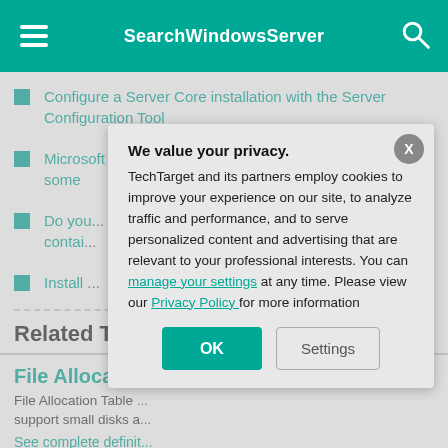SearchWindowsServer
Configure a Server Core installation with the Server Configuration Tool
Microsoft Nano Server overhaul a disappointment to some
Do you...contain...
Install ...
Related Term...
File Allocation ...
File Allocation Table ...  support small disks a...
See complete definit...
[Figure (screenshot): Privacy consent modal dialog with title 'We value your privacy.' and text about TechTarget cookies policy, with OK and Settings buttons and a close X button]